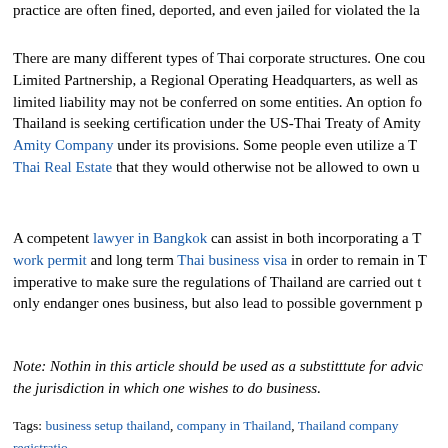practice are often fined, deported, and even jailed for violated the la...
There are many different types of Thai corporate structures. One cou... Limited Partnership, a Regional Operating Headquarters, as well as... limited liability may not be conferred on some entities. An option fo... Thailand is seeking certification under the US-Thai Treaty of Amity... Amity Company under its provisions. Some people even utilize a T... Thai Real Estate that they would otherwise not be allowed to own u...
A competent lawyer in Bangkok can assist in both incorporating a T... work permit and long term Thai business visa in order to remain in T... imperative to make sure the regulations of Thailand are carried out t... only endanger ones business, but also lead to possible government p...
Note: Nothin in this article should be used as a substitttute for advice... the jurisdiction in which one wishes to do business.
Tags: business setup thailand, company in Thailand, Thailand company registratio...
Posted in Thailand Business | No Comments »